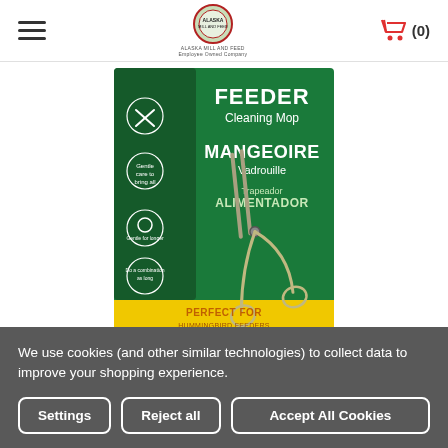Alaska Mill and Feed — Employee Owned Company
[Figure (photo): Perky Pet Feeder Cleaning Mop product packaging — green and yellow box with scissors/mop tool image. Text on packaging: FEEDER Cleaning Mop / MANGEOIRE Vadrouille / Trapeador ALIMENTADOR / PERFECT FOR / PARFAIT POUR]
Perky Pet
We use cookies (and other similar technologies) to collect data to improve your shopping experience.
Settings
Reject all
Accept All Cookies